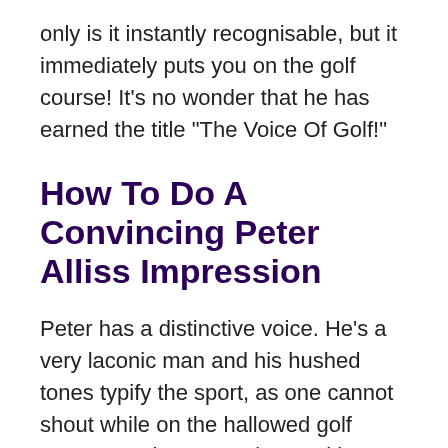only is it instantly recognisable, but it immediately puts you on the golf course! It’s no wonder that he has earned the title “The Voice Of Golf!”
How To Do A Convincing Peter Alliss Impression
Peter has a distinctive voice. He’s a very laconic man and his hushed tones typify the sport, as one cannot shout while on the hallowed golf course! He has a gentle speaking voice and although he clearly gets animated when a good shot has been played, his voice is always measured and